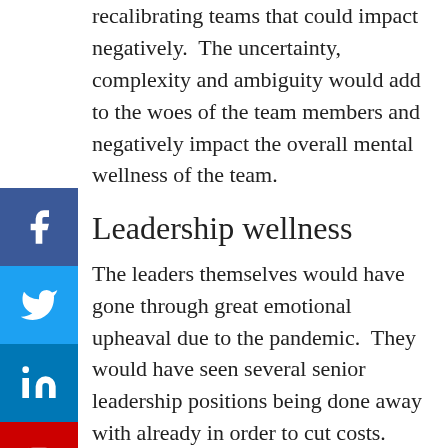recalibrating teams that could impact negatively.  The uncertainty, complexity and ambiguity would add to the woes of the team members and negatively impact the overall mental wellness of the team.
[Figure (other): Social media sharing sidebar with Facebook, Twitter, LinkedIn, and YouTube buttons stacked vertically on the left edge of the page, with a collapse arrow below]
Leadership wellness
The leaders themselves would have gone through great emotional upheaval due to the pandemic.  They would have seen several senior leadership positions being done away with already in order to cut costs.  Some